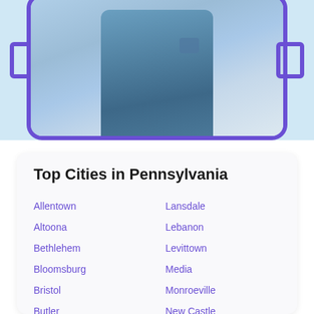[Figure (photo): Photo of a person wearing a blue denim jacket, shown from the torso down with arm extended, inside a purple-bordered rounded frame. Left and right connector brackets visible on sides.]
Top Cities in Pennsylvania
Allentown
Altoona
Bethlehem
Bloomsburg
Bristol
Butler
Carlisle
Lansdale
Lebanon
Levittown
Media
Monroeville
New Castle
Norristown